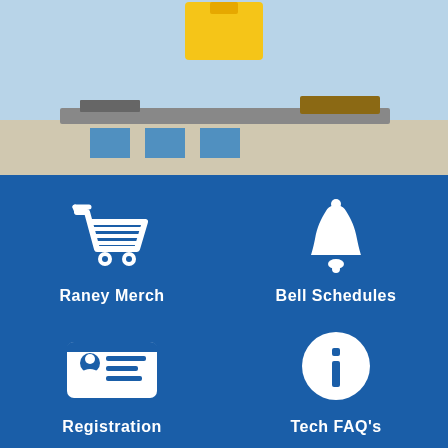[Figure (photo): Photo of a school building exterior with blue sky, partially visible. A golden/yellow package icon appears at the top in a light blue area.]
[Figure (infographic): Blue background panel with four white icons arranged in a 2x2 grid: shopping cart (Raney Merch), bell (Bell Schedules), ID card (Registration), and info circle (Tech FAQ's). Each icon has a bold white label beneath it.]